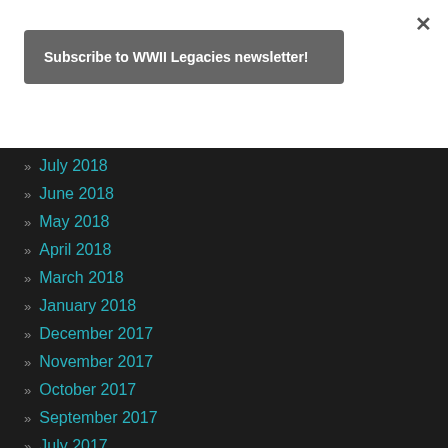×
Subscribe to WWII Legacies newsletter!
July 2018
June 2018
May 2018
April 2018
March 2018
January 2018
December 2017
November 2017
October 2017
September 2017
July 2017